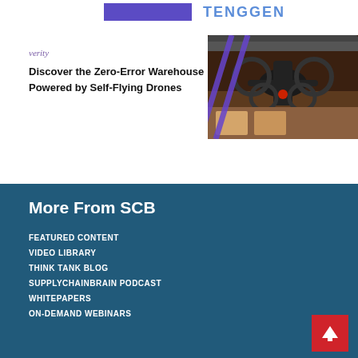[Figure (logo): Top area with blue rectangle and verity/TENGGEN logo text]
[Figure (illustration): Verity ad banner with logo, headline text and drone photo with diagonal purple lines]
More From SCB
FEATURED CONTENT
VIDEO LIBRARY
THINK TANK BLOG
SUPPLYCHAINBRAIN PODCAST
WHITEPAPERS
ON-DEMAND WEBINARS